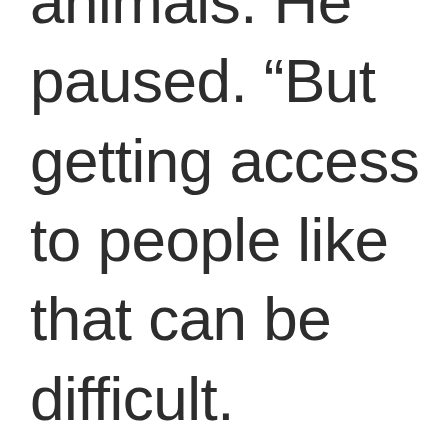animals. He paused. “But getting access to people like that can be difficult. Prisoners are easy. They like meeting